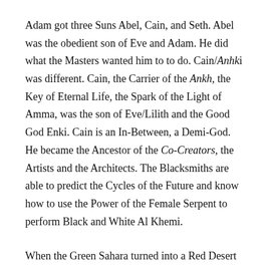Adam got three Suns Abel, Cain, and Seth. Abel was the obedient son of Eve and Adam. He did what the Masters wanted him to to do. Cain/Anhki was different. Cain, the Carrier of the Ankh, the Key of Eternal Life, the Spark of the Light of Amma, was the son of Eve/Lilith and the Good God Enki. Cain is an In-Between, a Demi-God. He became the Ancestor of the Co-Creators, the Artists and the Architects. The Blacksmiths are able to predict the Cycles of the Future and know how to use the Power of the Female Serpent to perform Black and White Al Khemi.
When the Green Sahara turned into a Red Desert the Children of Heru moved away to the North, the East and the South. A small part stayed in Punt, Ethiopia.